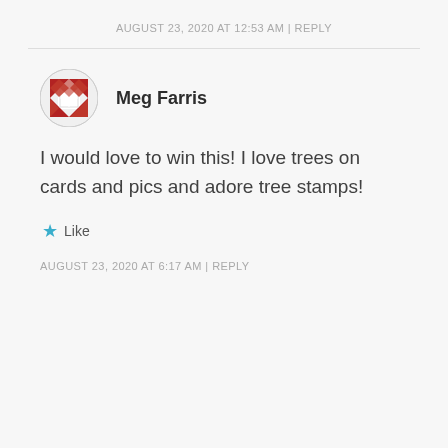AUGUST 23, 2020 AT 12:53 AM | REPLY
Meg Farris
I would love to win this! I love trees on cards and pics and adore tree stamps!
Like
AUGUST 23, 2020 AT 6:17 AM | REPLY